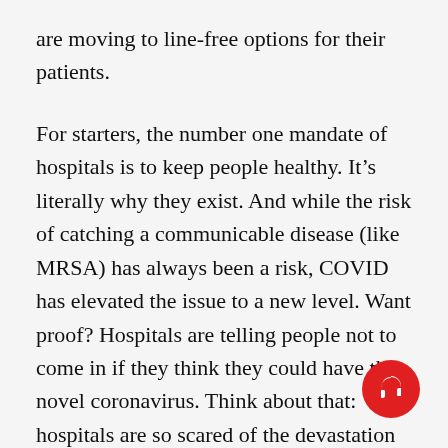are moving to line-free options for their patients.

For starters, the number one mandate of hospitals is to keep people healthy. It’s literally why they exist. And while the risk of catching a communicable disease (like MRSA) has always been a risk, COVID has elevated the issue to a new level. Want proof? Hospitals are telling people not to come in if they think they could have the novel coronavirus. Think about that: hospitals are so scared of the devastation that an outbreak could create that they are refusing to treat sick people. With that being the “new normal” (a term I di almost as much as “post-COVID”), the idea o anyone waiting in a line or a lobby is just not going
[Figure (other): Red circular audio/listen button with headphones icon, positioned in the bottom-right corner]